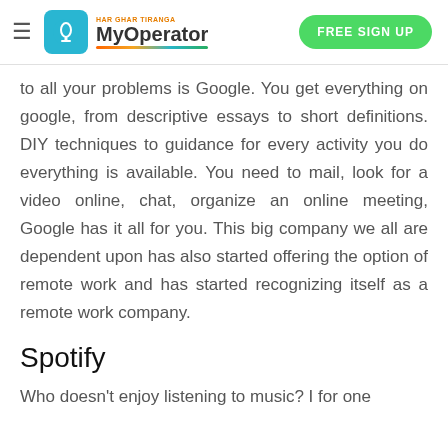MyOperator – FREE SIGN UP
to all your problems is Google. You get everything on google, from descriptive essays to short definitions. DIY techniques to guidance for every activity you do everything is available. You need to mail, look for a video online, chat, organize an online meeting, Google has it all for you. This big company we all are dependent upon has also started offering the option of remote work and has started recognizing itself as a remote work company.
Spotify
Who doesn't enjoy listening to music? I for one